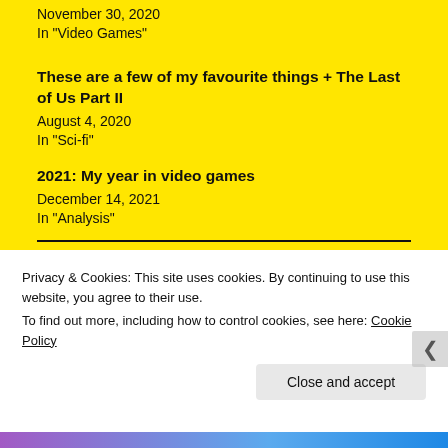November 30, 2020
In "Video Games"
These are a few of my favourite things + The Last of Us Part II
August 4, 2020
In "Sci-fi"
2021: My year in video games
December 14, 2021
In "Analysis"
Privacy & Cookies: This site uses cookies. By continuing to use this website, you agree to their use.
To find out more, including how to control cookies, see here: Cookie Policy